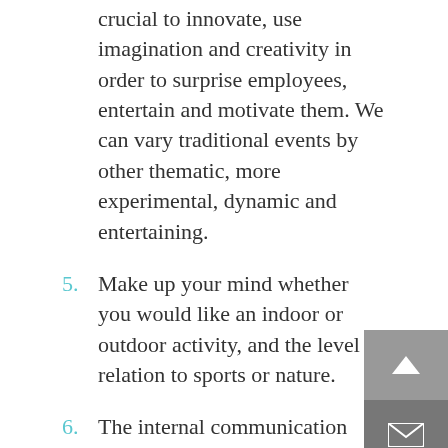crucial to innovate, use imagination and creativity in order to surprise employees, entertain and motivate them. We can vary traditional events by other thematic, more experimental, dynamic and entertaining.
5. Make up your mind whether you would like an indoor or outdoor activity, and the level of relation to sports or nature.
6. The internal communication strategy is crucial before, during and after the event. It is necessary to create expectations among employees, nurture illusion for the activity and never disappoint them.
7. In the event that the company may not be able to allocate resources of time and personnel to organise the team building, it is advisable to outsource the planning and development of the activity to an agency expert in this type of training programs that